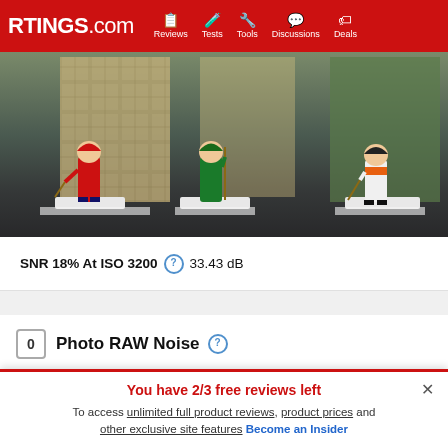RTINGS.com | Reviews | Tests | Tools | Discussions | Deals
[Figure (photo): Photo of three hockey player figurines on white bases, placed on a dark gray surface with a decorative patterned background. Left figurine wears a red uniform, center figurine wears a green/teal uniform, right figurine wears a white/orange uniform.]
SNR 18% At ISO 3200  33.43 dB
0  Photo RAW Noise
RAW SNR 18% At Base ISO  N/A
RAW SNR 18% At ISO 200  N/A
You have 2/3 free reviews left
To access unlimited full product reviews, product prices and other exclusive site features Become an Insider